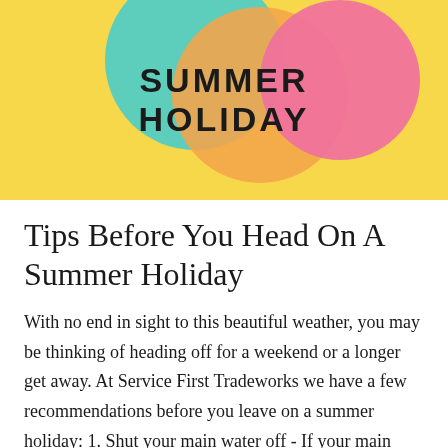[Figure (illustration): Summer holiday banner with yellow background, overlapping circles in teal, orange, and pink, with the text SUMMER HOLIDAY in bold black capital letters]
Tips Before You Head On A Summer Holiday
With no end in sight to this beautiful weather, you may be thinking of heading off for a weekend or a longer get away. At Service First Tradeworks we have a few recommendations before you leave on a summer holiday: 1. Shut your main water off - If your main water is off you don't have to worry about any unforeseen leaks causing damage to your home while you are